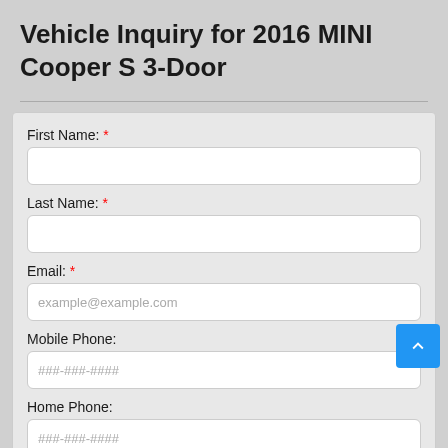Vehicle Inquiry for 2016 MINI Cooper S 3-Door
First Name: *
Last Name: *
Email: *
Mobile Phone:
Home Phone: